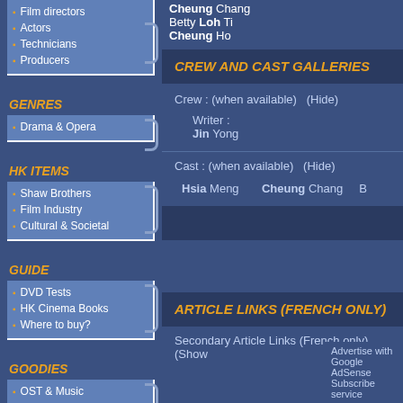Cheung Chang
Betty Loh Ti
Cheung Ho
CREW AND CAST GALLERIES
Crew : (when available)  (Hide)
Writer :
Jin Yong
Cast : (when available)  (Hide)
Hsia Meng    Cheung Chang
GENRES
Drama & Opera
HK ITEMS
Shaw Brothers
Film Industry
Cultural & Societal
GUIDE
DVD Tests
HK Cinema Books
Where to buy?
ARTICLE LINKS (FRENCH ONLY)
Secondary Article Links (French only)  (Show...
GOODIES
OST & Music
Advertise with Google AdSense    Subscribe service